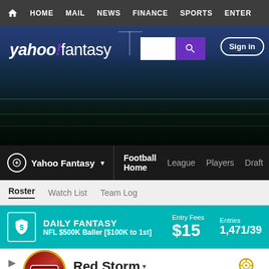HOME  MAIL  NEWS  FINANCE  SPORTS  ENTER
[Figure (screenshot): Yahoo Fantasy sports hero banner with football stadium background, Yahoo! fantasy logo, search box, and Sign in button]
Yahoo Fantasy ▾  Football Home  League  Players  Draft
Roster  Watch List  Team Log
DAILY FANTASY  NFL $500K Baller [$100K to 1st]  Entry Fees $15  Entries 1,471/39
Red Storm ▾  --hidden--  Since '06  Rating: 7